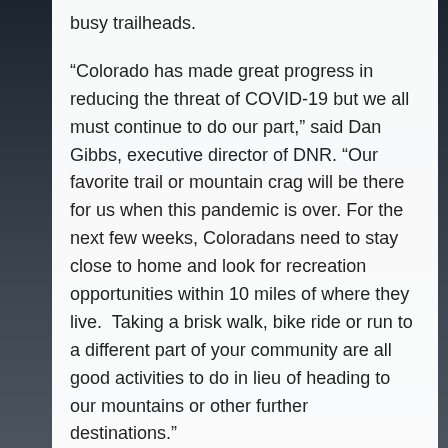busy trailheads.
“Colorado has made great progress in reducing the threat of COVID-19 but we all must continue to do our part,” said Dan Gibbs, executive director of DNR. “Our favorite trail or mountain crag will be there for us when this pandemic is over. For the next few weeks, Coloradans need to stay close to home and look for recreation opportunities within 10 miles of where they live.  Taking a brisk walk, bike ride or run to a different part of your community are all good activities to do in lieu of heading to our mountains or other further destinations.”
There’s still plenty of ways to enjoy the physical and mental benefits of Colorado’s outdoors. Stay close to home, and choose times and places where you can